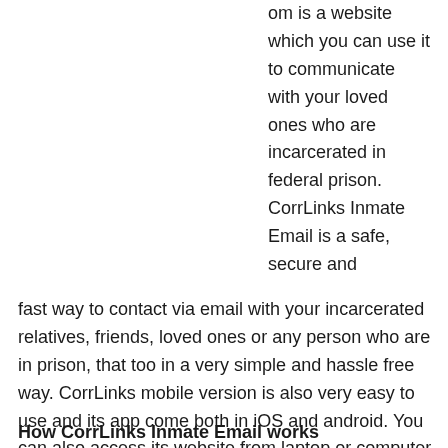om is a website which you can use it to communicate with your loved ones who are incarcerated in federal prison. CorrLinks Inmate Email is a safe, secure and fast way to contact via email with your incarcerated relatives, friends, loved ones or any person who are in prison, that too in a very simple and hassle free way. CorrLinks mobile version is also very easy to use and its app come both in iOS and android. You can also access its website from laptop or computer which is connected to internet.
How CorrLinks Inmate Email works